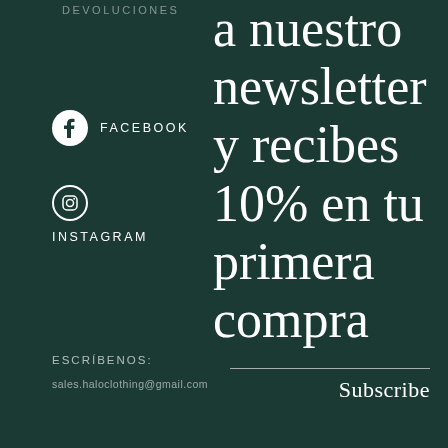DEVOLUCIONES
FACEBOOK
INSTAGRAM
a nuestro newsletter y recibes 10% en tu primera compra
ESCRÍBENOS:
sales.haloclothing@gmail.com
Subscribe